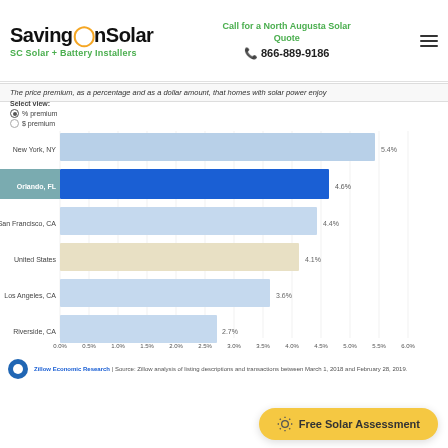SavingOnSolar - SC Solar + Battery Installers
Call for a North Augusta Solar Quote
866-889-9186
The price premium, as a percentage and as a dollar amount, that homes with solar power enjoy
Select view:
% premium
$ premium
[Figure (bar-chart): Solar Home Price Premium by Location]
Zillow Economic Research | Source: Zillow analysis of listing descriptions and transactions between March 1, 2018 and February 28, 2019.
Free Solar Assessment